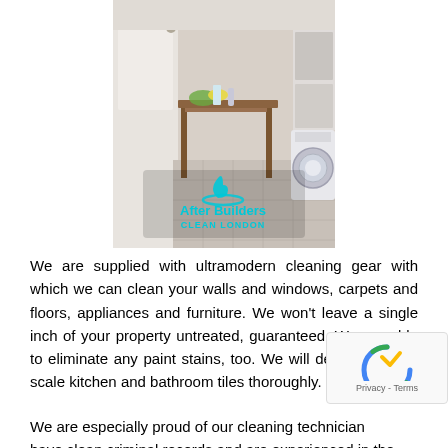[Figure (photo): Photo of a kitchen/utility room interior showing a wooden table with items on top, tiled floor, and a washing machine in the background. An 'After Builders Clean London' watermark logo is overlaid on the lower portion of the image.]
We are supplied with ultramodern cleaning gear with which we can clean your walls and windows, carpets and floors, appliances and furniture. We won't leave a single inch of your property untreated, guaranteed. We are able to eliminate any paint stains, too. We will de-line and de-scale kitchen and bathroom tiles thoroughly.
We are especially proud of our cleaning technicians who have clean criminal records and are experienced in the